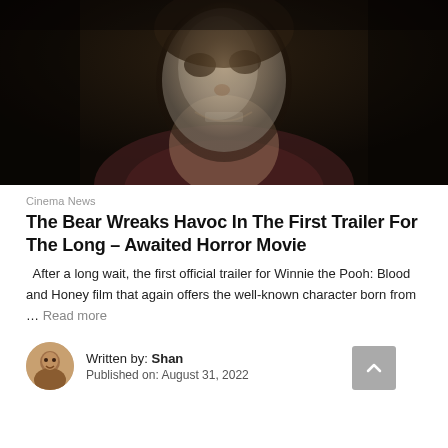[Figure (photo): Dark atmospheric photo of a person in a bear-like horror costume or mask, lit from below in a dim setting]
Cinema News
The Bear Wreaks Havoc In The First Trailer For The Long – Awaited Horror Movie
After a long wait, the first official trailer for Winnie the Pooh: Blood and Honey film that again offers the well-known character born from … Read more
Written by: Shan
Published on: August 31, 2022